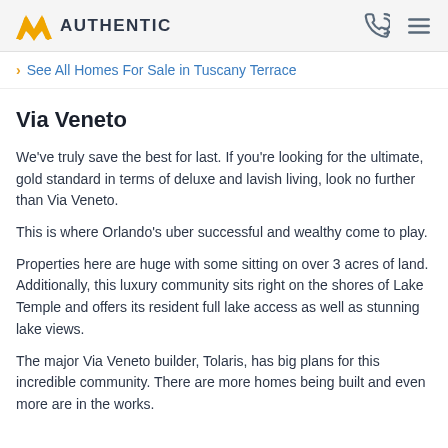AUTHENTIC
See All Homes For Sale in Tuscany Terrace
Via Veneto
We've truly save the best for last. If you're looking for the ultimate, gold standard in terms of deluxe and lavish living, look no further than Via Veneto.
This is where Orlando's uber successful and wealthy come to play.
Properties here are huge with some sitting on over 3 acres of land. Additionally, this luxury community sits right on the shores of Lake Temple and offers its resident full lake access as well as stunning lake views.
The major Via Veneto builder, Tolaris, has big plans for this incredible community. There are more homes being built and even more are in the works.